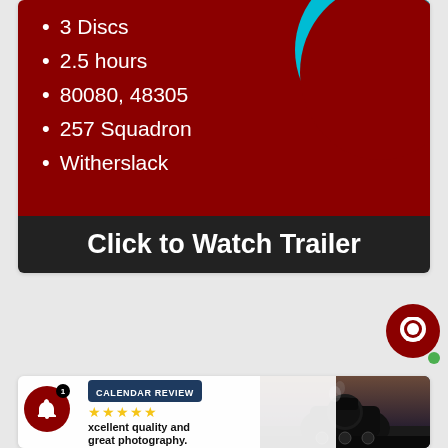3 Discs
2.5 hours
80080, 48305
257 Squadron
Witherslack
Click to Watch Trailer
CALENDAR REVIEW
[Figure (other): Five gold stars rating]
xcellent quality and great photography.
[Figure (photo): Steam locomotive train at dusk/sunset]